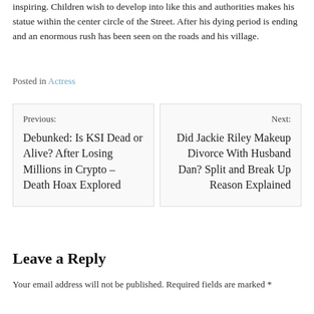inspiring. Children wish to develop into like this and authorities makes his statue within the center circle of the Street. After his dying period is ending and an enormous rush has been seen on the roads and his village.
Posted in Actress
Previous: Debunked: Is KSI Dead or Alive? After Losing Millions in Crypto – Death Hoax Explored
Next: Did Jackie Riley Makeup Divorce With Husband Dan? Split and Break Up Reason Explained
Leave a Reply
Your email address will not be published. Required fields are marked *